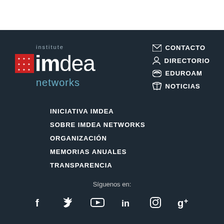[Figure (logo): IMDEA Networks Institute logo with red badge containing stars, bold 'imdea' text and 'networks' subtitle in blue-grey]
CONTACTO
DIRECTORIO
EDUROAM
NOTICIAS
INICIATIVA IMDEA
SOBRE IMDEA NETWORKS
ORGANIZACIÓN
MEMORIAS ANUALES
TRANSPARENCIA
Síguenos en:
[Figure (infographic): Social media icons: Facebook, Twitter, YouTube, LinkedIn, Instagram, Google+]